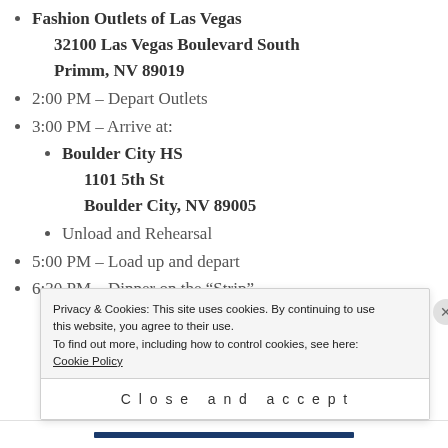Fashion Outlets of Las Vegas
32100 Las Vegas Boulevard South
Primm, NV 89019
2:00 PM – Depart Outlets
3:00 PM – Arrive at:
Boulder City HS
1101 5th St
Boulder City, NV 89005
Unload and Rehearsal
5:00 PM – Load up and depart
6:30 PM – Dinner on the “Strip”
Privacy & Cookies: This site uses cookies. By continuing to use this website, you agree to their use.
To find out more, including how to control cookies, see here: Cookie Policy
Close and accept